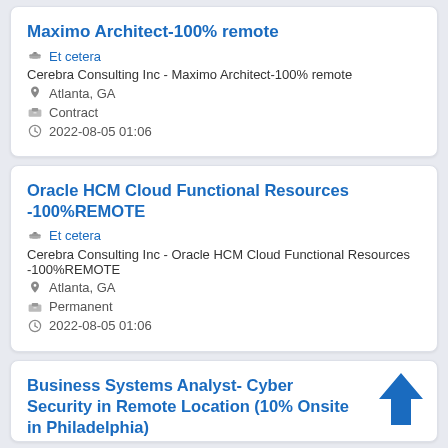Maximo Architect-100% remote | Et cetera | Cerebra Consulting Inc - Maximo Architect-100% remote | Atlanta, GA | Contract | 2022-08-05 01:06
Oracle HCM Cloud Functional Resources -100%REMOTE | Et cetera | Cerebra Consulting Inc - Oracle HCM Cloud Functional Resources -100%REMOTE | Atlanta, GA | Permanent | 2022-08-05 01:06
Business Systems Analyst- Cyber Security in Remote Location (10% Onsite in Philadelphia)